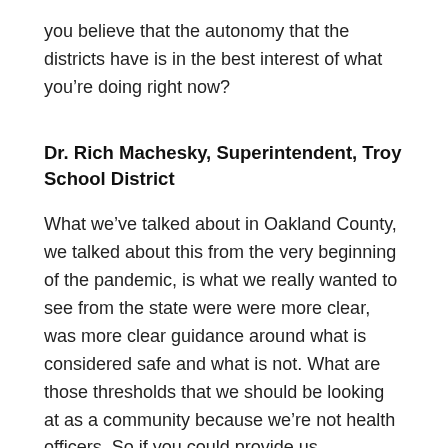you believe that the autonomy that the districts have is in the best interest of what you’re doing right now?
Dr. Rich Machesky, Superintendent, Troy School District
What we’ve talked about in Oakland County, we talked about this from the very beginning of the pandemic, is what we really wanted to see from the state were were more clear, was more clear guidance around what is considered safe and what is not. What are those thresholds that we should be looking at as a community because we’re not health officers. So if you could provide us thresholds that we should be considering as to when it’s safe and